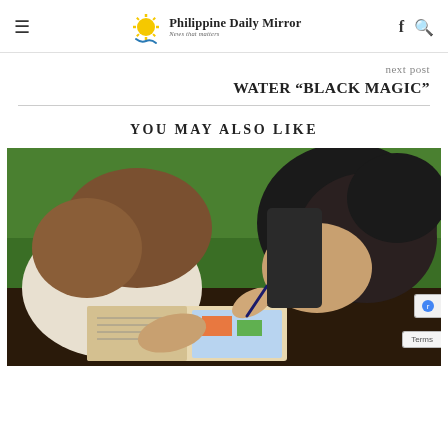Philippine Daily Mirror — News that matters
next post
WATER “BLACK MAGIC”
YOU MAY ALSO LIKE
[Figure (photo): Two children leaning over an open book, one holding a pen, appearing to be studying or writing together at a desk. Green background visible.]